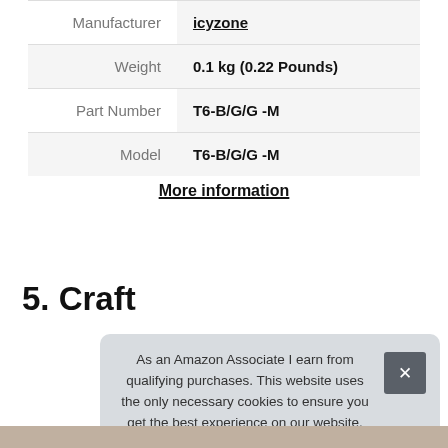|  |  |
| --- | --- |
| Manufacturer | icyzone |
| Weight | 0.1 kg (0.22 Pounds) |
| Part Number | T6-B/G/G -M |
| Model | T6-B/G/G -M |
More information
5. Craft
As an Amazon Associate I earn from qualifying purchases. This website uses the only necessary cookies to ensure you get the best experience on our website. More information